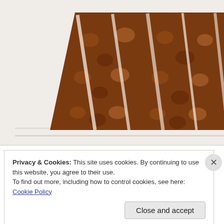[Figure (photo): Close-up photo of a glazed pastry or cake slice with a crunchy brown texture, with a white horizontal surface/shelf visible below. A second partial image is visible on the right side showing a decorative illustration with a tree and a circular logo/icon.]
Privacy & Cookies: This site uses cookies. By continuing to use this website, you agree to their use.
To find out more, including how to control cookies, see here: Cookie Policy
Close and accept